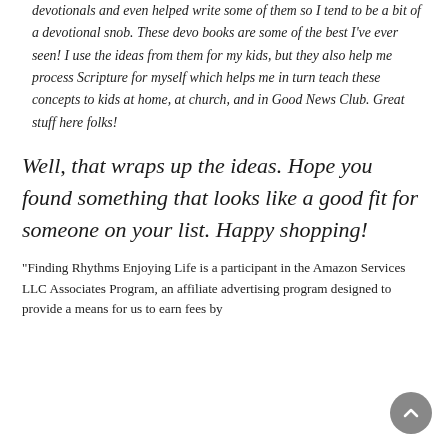devotionals and even helped write some of them so I tend to be a bit of a devotional snob. These devo books are some of the best I've ever seen! I use the ideas from them for my kids, but they also help me process Scripture for myself which helps me in turn teach these concepts to kids at home, at church, and in Good News Club. Great stuff here folks!
Well, that wraps up the ideas. Hope you found something that looks like a good fit for someone on your list. Happy shopping!
“Finding Rhythms Enjoying Life is a participant in the Amazon Services LLC Associates Program, an affiliate advertising program designed to provide a means for us to earn fees by